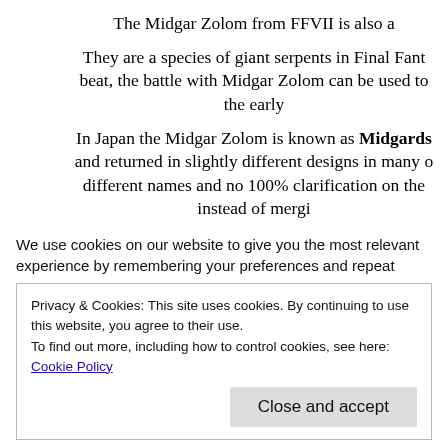The Midgar Zolom from FFVII is also a
They are a species of giant serpents in Final Fant beat, the battle with Midgar Zolom can be used to the early
In Japan the Midgar Zolom is known as Midgards and returned in slightly different designs in many o different names and no 100% clarification on the instead of mergi
The Midgar Zolom from th
| Charactername: | Midgar Zolom |
| --- | --- |
We use cookies on our website to give you the most relevant experience by remembering your preferences and repeat
Privacy & Cookies: This site uses cookies. By continuing to use this website, you agree to their use.
To find out more, including how to control cookies, see here: Cookie Policy